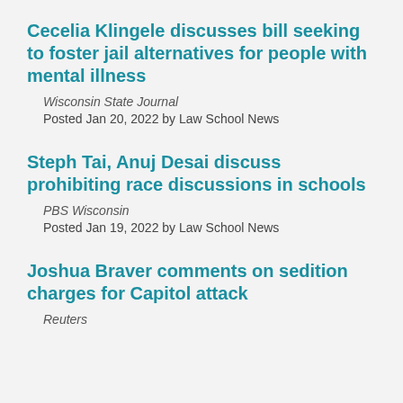Cecelia Klingele discusses bill seeking to foster jail alternatives for people with mental illness
Wisconsin State Journal
Posted Jan 20, 2022 by Law School News
Steph Tai, Anuj Desai discuss prohibiting race discussions in schools
PBS Wisconsin
Posted Jan 19, 2022 by Law School News
Joshua Braver comments on sedition charges for Capitol attack
Reuters